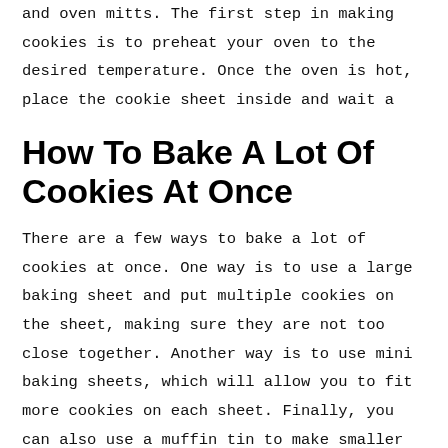and oven mitts. The first step in making cookies is to preheat your oven to the desired temperature. Once the oven is hot, place the cookie sheet inside and wait a
How To Bake A Lot Of Cookies At Once
There are a few ways to bake a lot of cookies at once. One way is to use a large baking sheet and put multiple cookies on the sheet, making sure they are not too close together. Another way is to use mini baking sheets, which will allow you to fit more cookies on each sheet. Finally, you can also use a muffin tin to make smaller cookies.